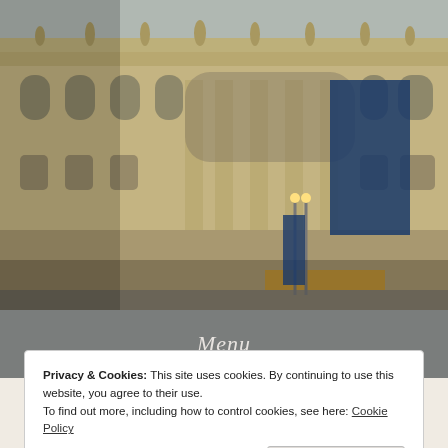[Figure (photo): Photograph of a large neoclassical or baroque-style building (likely Palazzo Madama in Turin, Italy). The building has ornate stone facade with arched windows, tall columns, and decorative statuary on the roofline. Flags including the Italian flag hang from the facade. There is a blue exhibition banner on the building. The sky is overcast.]
Menu
Privacy & Cookies: This site uses cookies. By continuing to use this website, you agree to their use.
To find out more, including how to control cookies, see here: Cookie Policy
Close and accept